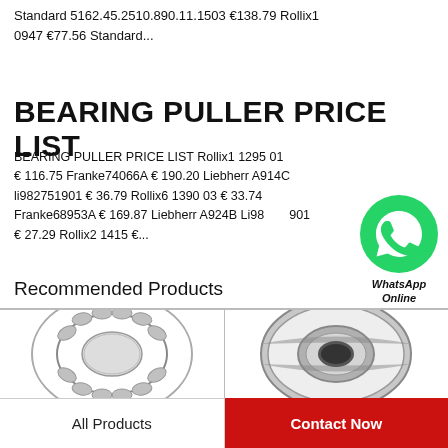Standard 5162.45.2510.890.11.1503 €138.79 Rollix1 0947 €77.56 Standard...
BEARING PULLER PRICE LIST
BEARING PULLER PRICE LIST Rollix1 1295 01 € 116.75 Franke74066A € 190.20 Liebherr A914C li982751901 € 36.79 Rollix6 1390 03 € 33.74 Franke68953A € 169.87 Liebherr A924B Li982751901 € 27.29 Rollix2 1415 €...
[Figure (logo): WhatsApp Online green bubble icon with phone handset]
Recommended Products
[Figure (photo): Spherical roller bearing product photo]
[Figure (photo): Tapered roller bearing product photo]
All Products
Contact Now